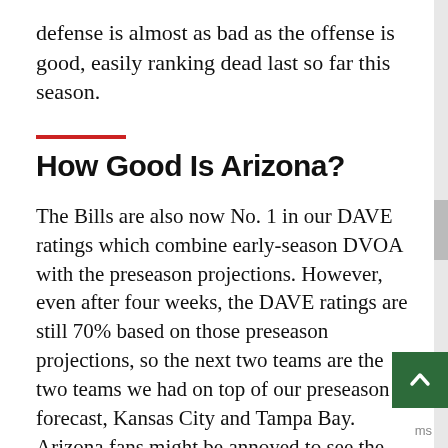defense is almost as bad as the offense is good, easily ranking dead last so far this season.
How Good Is Arizona?
The Bills are also now No. 1 in our DAVE ratings which combine early-season DVOA with the preseason projections. However, even after four weeks, the DAVE ratings are still 70% based on those preseason projections, so the next two teams are the two teams we had on top of our preseason forecast, Kansas City and Tampa Bay. Arizona fans might be annoyed to see the Cardinals down at No. 10 in DAVE even though they are the final unbeaten team in the NFL this season. Our preseason projection for the Cardinals had them as a league-average team, or very close to it. How likely is it that…